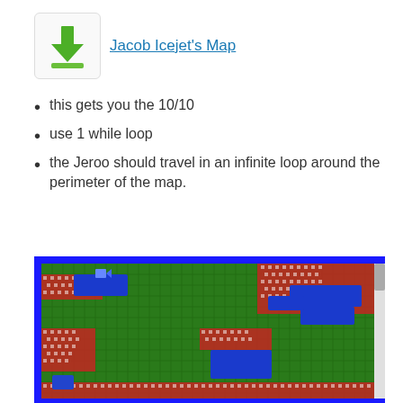[Figure (other): Download icon button with green arrow pointing down onto a green bar, in a white rounded box]
Jacob Icejet's Map
this gets you the 10/10
use 1 while loop
the Jeroo should travel in an infinite loop around the perimeter of the map.
[Figure (screenshot): A Jeroo programming environment map screenshot showing a grid with blue border, green grass tiles, red/white checkered tiles (flowers), and blue water/pond areas. A small blue arrow character is visible near the top-left.]